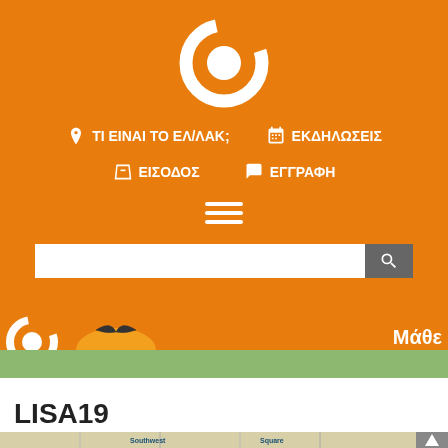[Figure (logo): ELLAK circular logo in white on orange background]
ΤΙ ΕΙΝΑΙ ΤΟ ΕΛ/ΛΑΚ;
ΕΚΔΗΛΩΣΕΙΣ
ΕΙΣΟΔΟΣ
ΕΓΓΡΑΦΗ
[Figure (logo): Small ELLAK circular logo in orange on banner strip]
Μάθε
LISA19
[Figure (map): Map preview showing Southwest Square area]